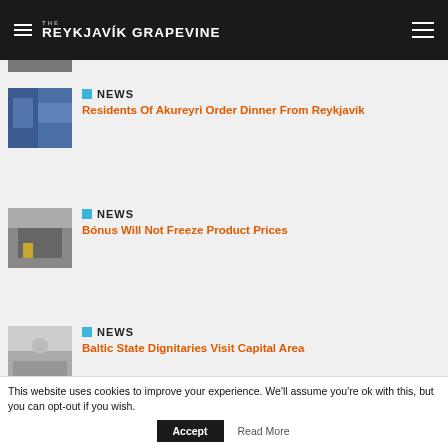THE REYKJAVÍK GRAPEVINE
NEWS
Residents Of Akureyri Order Dinner From Reykjavík
NEWS
Bónus Will Not Freeze Product Prices
NEWS
Baltic State Dignitaries Visit Capital Area
This website uses cookies to improve your experience. We'll assume you're ok with this, but you can opt-out if you wish. Accept Read More